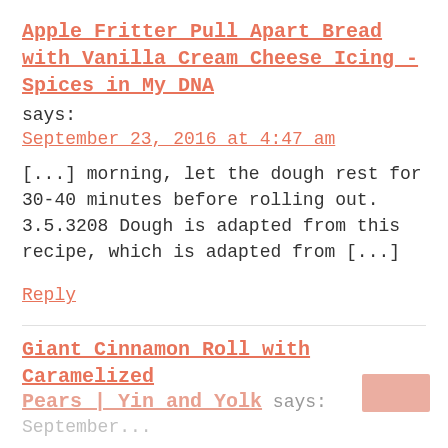Apple Fritter Pull Apart Bread with Vanilla Cream Cheese Icing - Spices in My DNA
says:
September 23, 2016 at 4:47 am
[...] morning, let the dough rest for 30-40 minutes before rolling out. 3.5.3208 Dough is adapted from this recipe, which is adapted from [...]
Reply
Giant Cinnamon Roll with Caramelized Pears | Yin and Yolk
says:
September...